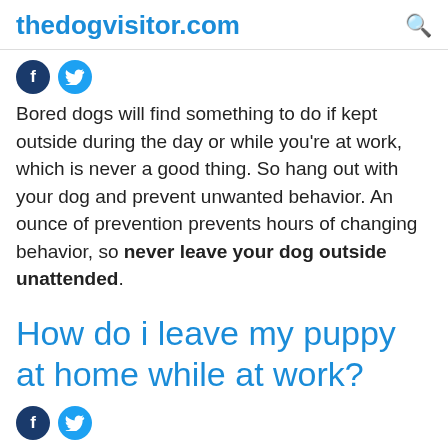thedogvisitor.com
[Figure (other): Social media share icons: Facebook and Twitter]
Bored dogs will find something to do if kept outside during the day or while you're at work, which is never a good thing. So hang out with your dog and prevent unwanted behavior. An ounce of prevention prevents hours of changing behavior, so never leave your dog outside unattended.
How do i leave my puppy at home while at work?
[Figure (other): Social media share icons: Facebook and Twitter]
First, crate train your puppy, and second, arrange